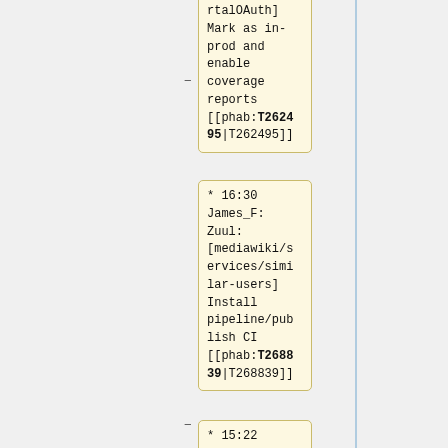rtalOAuth] Mark as in-prod and enable coverage reports [[phab:T262495|T262495]]
* 16:30 James_F: Zuul: [mediawiki/services/similar-users] Install pipeline/publish CI [[phab:T268839|T268839]]
* 15:22